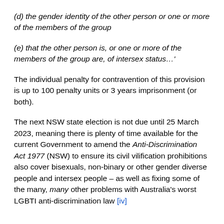(d) the gender identity of the other person or one or more of the members of the group
(e) that the other person is, or one or more of the members of the group are, of intersex status…'
The individual penalty for contravention of this provision is up to 100 penalty units or 3 years imprisonment (or both).
The next NSW state election is not due until 25 March 2023, meaning there is plenty of time available for the current Government to amend the Anti-Discrimination Act 1977 (NSW) to ensure its civil vilification prohibitions also cover bisexuals, non-binary or other gender diverse people and intersex people – as well as fixing some of the many, many other problems with Australia's worst LGBTI anti-discrimination law [iv]